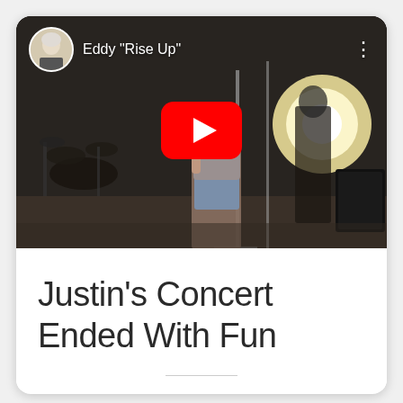[Figure (screenshot): YouTube video thumbnail showing a woman singing into a microphone in a dark studio setting with a drum kit in the background. Overlay shows channel avatar (woman with short white hair), channel name 'Eddy "Rise Up"', three-dot menu icon, and a YouTube play button in the center.]
Justin's Concert Ended With Fun